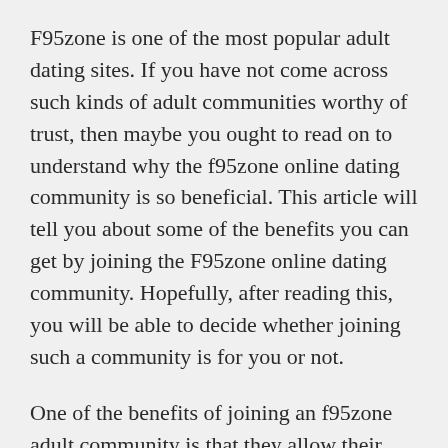F95zone is one of the most popular adult dating sites. If you have not come across such kinds of adult communities worthy of trust, then maybe you ought to read on to understand why the f95zone online dating community is so beneficial. This article will tell you about some of the benefits you can get by joining the F95zone online dating community. Hopefully, after reading this, you will be able to decide whether joining such a community is for you or not.
One of the benefits of joining an f95zone adult community is that they allow their members to communicate freely. This is possible because all the members in this community are above the age of 18 years and have legal rights to talk about certain issues in a secure environment. For people who do not have any legal rights to communicate about